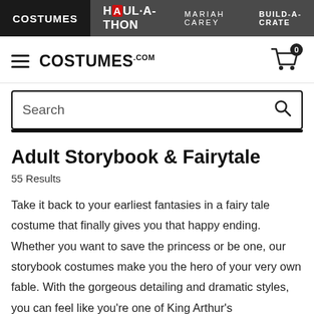COSTUMES | HAUL-A-THON | MARIAH CAREY | BUILD-A-CRATE
[Figure (logo): COSTUMES.com site header with hamburger menu, logo, and cart icon showing 0 items]
[Figure (screenshot): Search bar with placeholder text 'Search' and magnifying glass icon]
Adult Storybook & Fairytale
55 Results
Take it back to your earliest fantasies in a fairy tale costume that finally gives you that happy ending. Whether you want to save the princess or be one, our storybook costumes make you the hero of your very own fable. With the gorgeous detailing and dramatic styles, you can feel like you're one of King Arthur's